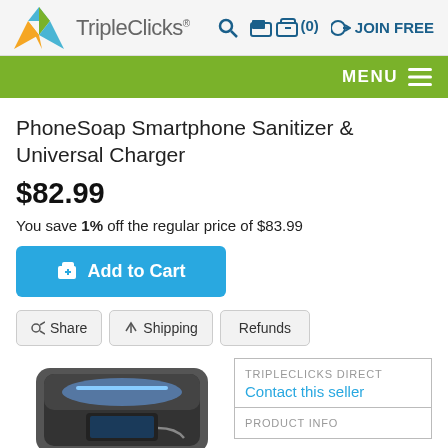TripleClicks — Search | Cart (0) | JOIN FREE | MENU
PhoneSoap Smartphone Sanitizer & Universal Charger
$82.99
You save 1% off the regular price of $83.99
Add to Cart
Share | Shipping | Refunds
[Figure (photo): PhoneSoap Smartphone Sanitizer device open showing UV light and a smartphone inside]
TRIPLECLICKS DIRECT
Contact this seller
PRODUCT INFO